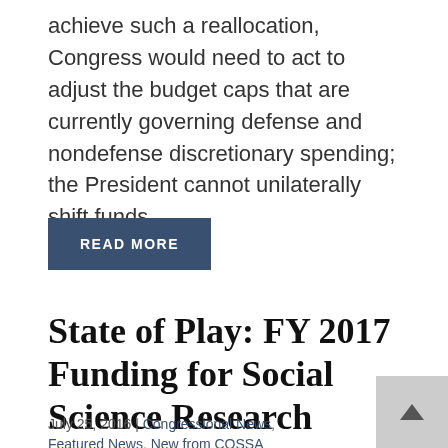achieve such a reallocation, Congress would need to act to adjust the budget caps that are currently governing defense and nondefense discretionary spending; the President cannot unilaterally shift funds...
READ MORE
State of Play: FY 2017 Funding for Social Science Research
July 25, 2016 | Congressional News, Featured News, New from COSSA